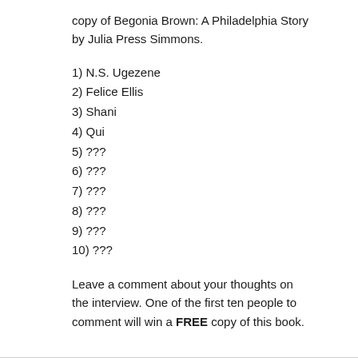copy of Begonia Brown: A Philadelphia Story by Julia Press Simmons.
1) N.S. Ugezene
2) Felice Ellis
3) Shani
4) Qui
5) ???
6) ???
7) ???
8) ???
9) ???
10) ???
Leave a comment about your thoughts on the interview. One of the first ten people to comment will win a FREE copy of this book.